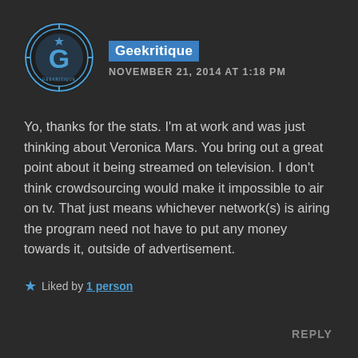[Figure (logo): Geekritique circular logo with a stylized G letter, blue and white color scheme with concentric circle design]
Geekritique
NOVEMBER 21, 2014 AT 1:18 PM
Yo, thanks for the stats. I'm at work and was just thinking about Veronica Mars. You bring out a great point about it being streamed on television. I don't think crowdsourcing would make it impossible to air on tv. That just means whichever network(s) is airing the program need not have to put any money towards it, outside of advertisement.
Liked by 1 person
REPLY